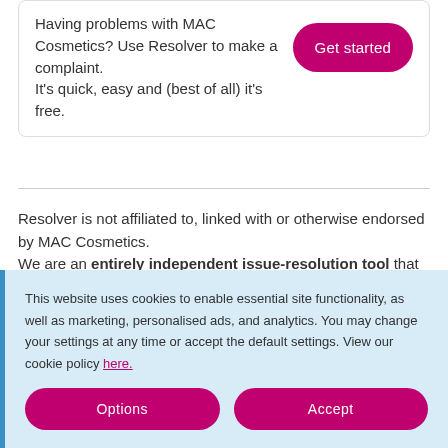Having problems with MAC Cosmetics? Use Resolver to make a complaint. It's quick, easy and (best of all) it's free.
Get started
Resolver is not affiliated to, linked with or otherwise endorsed by MAC Cosmetics.
We are an entirely independent issue-resolution tool that enables the raising and handling of consumer issues, making
This website uses cookies to enable essential site functionality, as well as marketing, personalised ads, and analytics. You may change your settings at any time or accept the default settings. View our cookie policy here.
Options
Accept